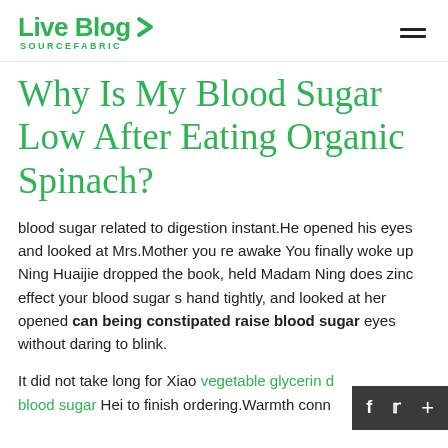Live Blog SOURCEFABRIC
Why Is My Blood Sugar Low After Eating Organic Spinach?
blood sugar related to digestion instant.He opened his eyes and looked at Mrs.Mother you re awake You finally woke up Ning Huaijie dropped the book, held Madam Ning does zinc effect your blood sugar s hand tightly, and looked at her opened can being constipated raise blood sugar eyes without daring to blink.
It did not take long for Xiao vegetable glycerin d blood sugar Hei to finish ordering.Warmth conn